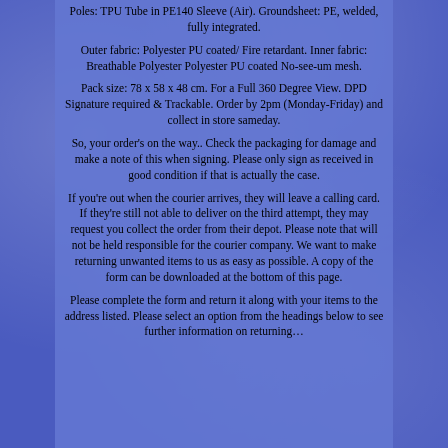Poles: TPU Tube in PE140 Sleeve (Air). Groundsheet: PE, welded, fully integrated.
Outer fabric: Polyester PU coated/ Fire retardant. Inner fabric: Breathable Polyester Polyester PU coated No-see-um mesh.
Pack size: 78 x 58 x 48 cm. For a Full 360 Degree View. DPD Signature required & Trackable. Order by 2pm (Monday-Friday) and collect in store sameday.
So, your order's on the way.. Check the packaging for damage and make a note of this when signing. Please only sign as received in good condition if that is actually the case.
If you're out when the courier arrives, they will leave a calling card. If they're still not able to deliver on the third attempt, they may request you collect the order from their depot. Please note that will not be held responsible for the courier company. We want to make returning unwanted items to us as easy as possible. A copy of the form can be downloaded at the bottom of this page.
Please complete the form and return it along with your items to the address listed. Please select an option from the headings below to see further information on returning...